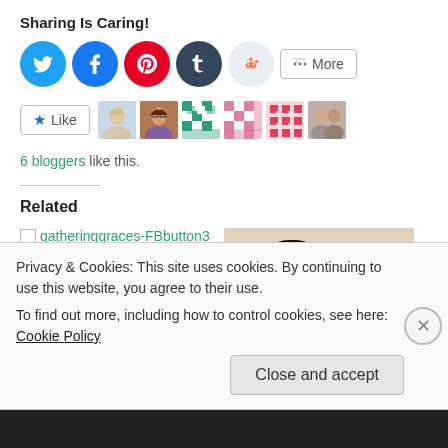Sharing Is Caring!
[Figure (infographic): Row of social share buttons: Twitter (cyan circle), Facebook (blue circle), Pinterest (red circle), Tumblr (dark circle), Reddit (light circle), and a More button]
[Figure (infographic): Like button with star icon, followed by six blogger avatar thumbnails]
6 bloggers like this.
Related
[Figure (other): Related post: broken image icon with text 'gatheringgraces-FBbutton3', link 'Plus and Post', date 'April 24, 2013']
[Figure (photo): Photo of two smiling young people (a woman and a man) as a related post thumbnail]
Privacy & Cookies: This site uses cookies. By continuing to use this website, you agree to their use.
To find out more, including how to control cookies, see here: Cookie Policy
Close and accept